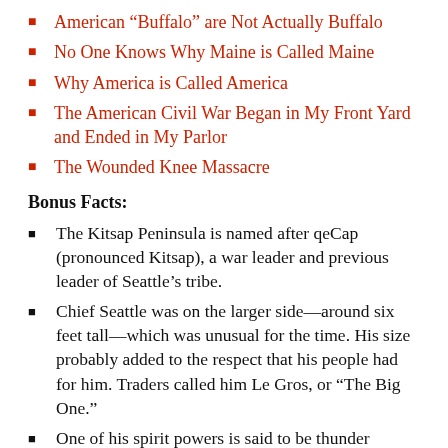American “Buffalo” are Not Actually Buffalo
No One Knows Why Maine is Called Maine
Why America is Called America
The American Civil War Began in My Front Yard and Ended in My Parlor
The Wounded Knee Massacre
Bonus Facts:
The Kitsap Peninsula is named after qeCap (pronounced Kitsap), a war leader and previous leader of Seattle’s tribe.
Chief Seattle was on the larger side—around six feet tall—which was unusual for the time. His size probably added to the respect that his people had for him. Traders called him Le Gros, or “The Big One.”
One of his spirit powers is said to be thunder